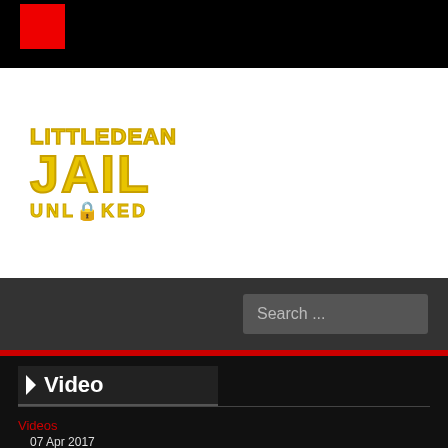[Figure (logo): Littledean Jail Unlocked logo — yellow bold text on white background with 'LITTLEDEAN' on top, 'JAIL' large below, 'UNLOCKED' with a lock icon in place of the O]
Search ...
Video
Videos
07 Apr 2017
16619 times
Jamie Bell starring as SAS Blue Team Leader, Rusty